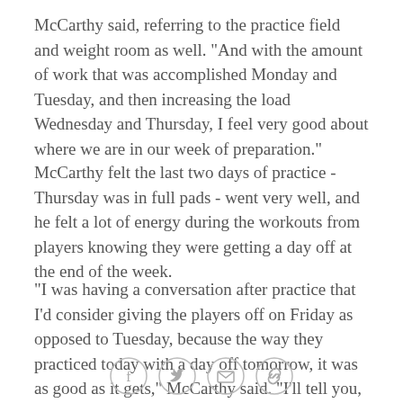McCarthy said, referring to the practice field and weight room as well. "And with the amount of work that was accomplished Monday and Tuesday, and then increasing the load Wednesday and Thursday, I feel very good about where we are in our week of preparation."
McCarthy felt the last two days of practice - Thursday was in full pads - went very well, and he felt a lot of energy during the workouts from players knowing they were getting a day off at the end of the week.
"I was having a conversation after practice that I'd consider giving the players off on Friday as opposed to Tuesday, because the way they practiced today with a day off tomorrow, it was as good as it gets," McCarthy said. "I'll tell you, we looked like we were in training
[Figure (other): Social sharing icons row: Facebook (f), Twitter (bird), Email (envelope), Link (chain link) — each in a light gray circle outline]